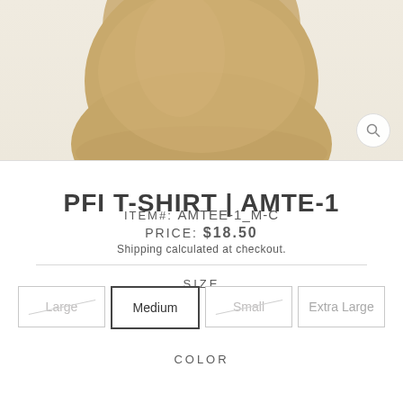[Figure (photo): Product photo of a tan/khaki colored t-shirt, showing the bottom portion of the shirt on a light beige background. A circular zoom button is visible in the bottom-right corner.]
PFI T-SHIRT | AMTE-1
ITEM#: AMTEE-1_M-C
PRICE: $18.50
Shipping calculated at checkout.
SIZE
Large
Medium
Small
Extra Large
COLOR